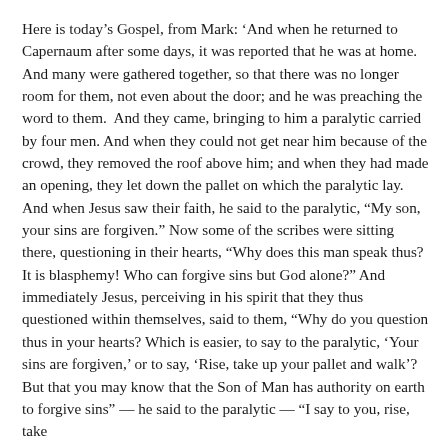Here is today's Gospel, from Mark: 'And when he returned to Capernaum after some days, it was reported that he was at home. And many were gathered together, so that there was no longer room for them, not even about the door; and he was preaching the word to them.  And they came, bringing to him a paralytic carried by four men. And when they could not get near him because of the crowd, they removed the roof above him; and when they had made an opening, they let down the pallet on which the paralytic lay. And when Jesus saw their faith, he said to the paralytic, “My son, your sins are forgiven.” Now some of the scribes were sitting there, questioning in their hearts, “Why does this man speak thus? It is blasphemy! Who can forgive sins but God alone?” And immediately Jesus, perceiving in his spirit that they thus questioned within themselves, said to them, “Why do you question thus in your hearts? Which is easier, to say to the paralytic, ‘Your sins are forgiven,’ or to say, ‘Rise, take up your pallet and walk’? But that you may know that the Son of Man has authority on earth to forgive sins” — he said to the paralytic — “I say to you, rise, take